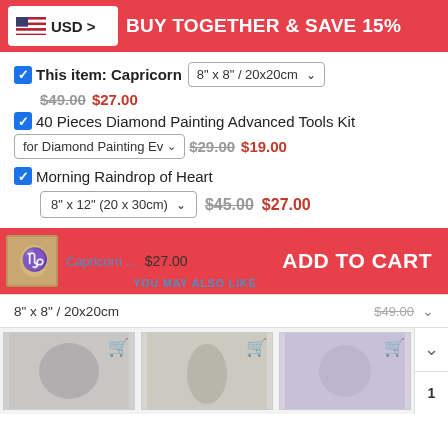USD > BUY TOGETHER & SAVE 15%
This item: Capricorn  8" x 8" / 20x20cm  $49.00 $27.00
40 Pieces Diamond Painting Advanced Tools Kit  for Diamond Painting Ev  $29.00 $19.00
Morning Raindrop of Heart  8" x 12" (20 x 30cm)  $45.00 $27.00
Capricorn ...  $27.00  ADD TO CART  YOU MAY ALSO LIKE
$49.00
8" x 8" / 20x20cm